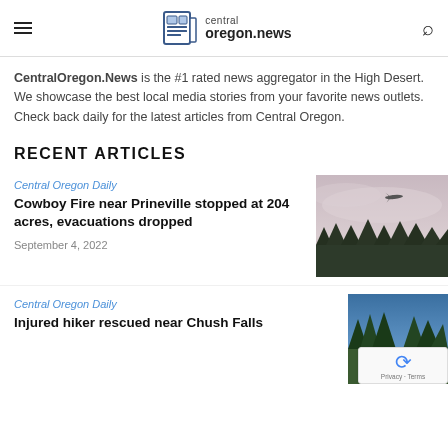central oregon.news
CentralOregon.News is the #1 rated news aggregator in the High Desert. We showcase the best local media stories from your favorite news outlets. Check back daily for the latest articles from Central Oregon.
RECENT ARTICLES
Central Oregon Daily
Cowboy Fire near Prineville stopped at 204 acres, evacuations dropped
September 4, 2022
[Figure (photo): Airplane flying over a forested horizon under a hazy sky, likely related to wildfire coverage]
Central Oregon Daily
Injured hiker rescued near Chush Falls
[Figure (photo): Forested mountainous scene with trees and a hiker or person visible in the lower portion]